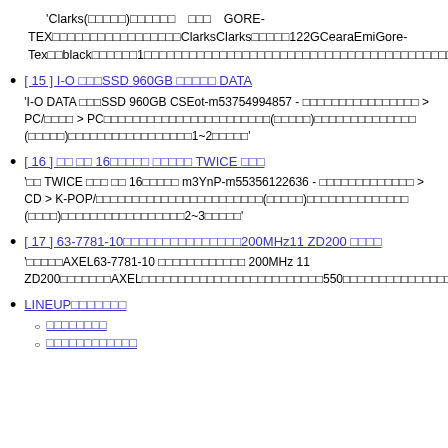'Clarks(□□□□□)□□□□□□  □□□  GORE-TEX□□□□□□□□□□□□□□□□□ ClarksClarks□□□□□122GCearaEmiGore-Tex□□black□□□□□□1□□□□ □□□□□□□□□□□□□□□□□□□□□□□□□□□□□□□□□□□□□□□□□□'
[ 15 ] I-O □□□SSD 960GB □□□□□ DATA
'I-O DATA □□□SSD 960GB CSEot-m53754994857 - □□□□□□□□□ □□□□□□ > PC/□□□□ > PC□□□□□□□□□□□□□□□□□□□□□□□(□□□□□)□□□□□□□□□□ □□□□ (□□□□□)□□□□□□□□□□□□□□□□□1~2□□□□□'
[ 16 ] □□ □□ 16□□□□□ □□□□□ TWICE □□□
'□□ TWICE □□□ □□ 16□□□□□ m3YnP-m55356122636 - □□□□□□□□□□□□ □ > CD > K-POP/□□□□□□□□□□□□□□□□□□□□□□□(□□□□□)□□□□□□□□□□□□□ (□ □□□)□□□□□□□□□□□□□□□□□2~3□□□□□'
[ 17 ] 63-7781-10□□□□□□□□□□□□□□□200MHz11 ZD200 □□□□
'□□□□□AXEL63-7781-10 □□□□□□□□□□□□ 200MHz 11 ZD200□□□□□□ □AXEL□□□□□□□□□□□□□□□□□□□□□□□□□550□□□□□□□□□□□□□□□□□□3000□□□□ □□□□□□'
LINEUP□□□□□□□
□□□□□□□□
□□□□□□□□□□□□